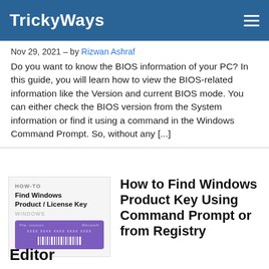TrickyWays
Nov 29, 2021 – by Rizwan Ashraf
Do you want to know the BIOS information of your PC? In this guide, you will learn how to view the BIOS-related information like the Version and current BIOS mode. You can either check the BIOS version from the System information or find it using a command in the Windows Command Prompt. So, without any [...]
[Figure (screenshot): Thumbnail image for article about finding Windows Product/License Key, showing a purple Microsoft product key card with barcode]
How to Find Windows Product Key Using Command Prompt or from Registry
Editor